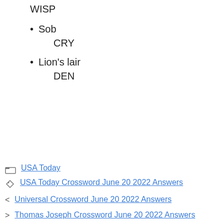WISP
Sob
CRY
Lion's lair
DEN
USA Today
USA Today Crossword June 20 2022 Answers
Universal Crossword June 20 2022 Answers
Thomas Joseph Crossword June 20 2022 Answers